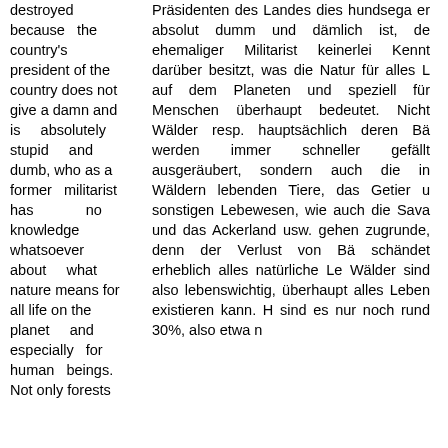destroyed because the country's president of the country does not give a damn and is absolutely stupid and dumb, who as a former militarist has no knowledge whatsoever about what nature means for all life on the planet and especially for human beings. Not only forests
Präsidenten des Landes dies hundsega er absolut dumm und dämlich ist, de ehemaliger Militarist keinerlei Kennt darüber besitzt, was die Natur für alles L auf dem Planeten und speziell für Menschen überhaupt bedeutet. Nicht Wälder resp. hauptsächlich deren Bä werden immer schneller gefällt ausgeräubert, sondern auch die in Wäldern lebenden Tiere, das Getier u sonstigen Lebewesen, wie auch die Sava und das Ackerland usw. gehen zugrunde, denn der Verlust von Bä schändet erheblich alles natürliche Le Wälder sind also lebenswichtig, überhaupt alles Leben existieren kann. H sind es nur noch rund 30%, also etwa n